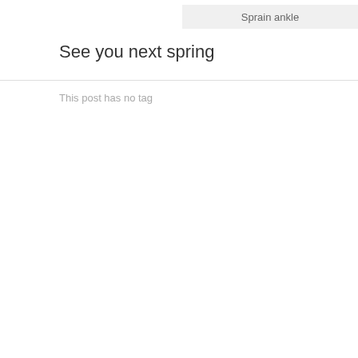[Figure (photo): Partial photograph visible at top right corner of page, cropped]
Sprain ankle
See you next spring
This post has no tag